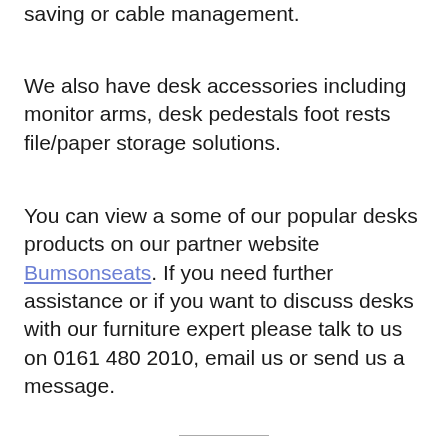saving or cable management.
We also have desk accessories including monitor arms, desk pedestals foot rests file/paper storage solutions.
You can view a some of our popular desks products on our partner website Bumsonseats. If you need further assistance or if you want to discuss desks with our furniture expert please talk to us on 0161 480 2010, email us or send us a message.